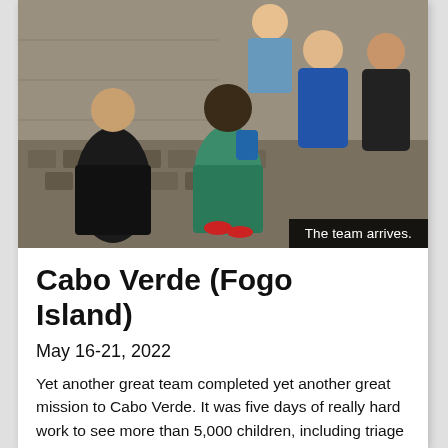[Figure (photo): Group photo of a medical mission team on a cobblestone street. Several people in scrubs and medical attire pose together. One person sits on a step on the left, another crouches in green scrubs in the center, and two women stand on the right in dark scrubs.]
The team arrives.
Cabo Verde (Fogo Island)
May 16-21, 2022
Yet another great team completed yet another great mission to Cabo Verde. It was five days of really hard work to see more than 5,000 children, including triage in Praia